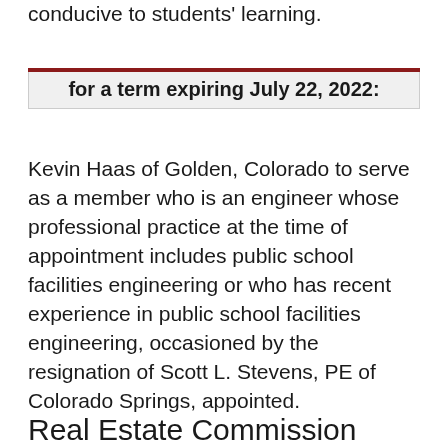conducive to students' learning.
for a term expiring July 22, 2022:
Kevin Haas of Golden, Colorado to serve as a member who is an engineer whose professional practice at the time of appointment includes public school facilities engineering or who has recent experience in public school facilities engineering, occasioned by the resignation of Scott L. Stevens, PE of Colorado Springs, appointed.
Real Estate Commission